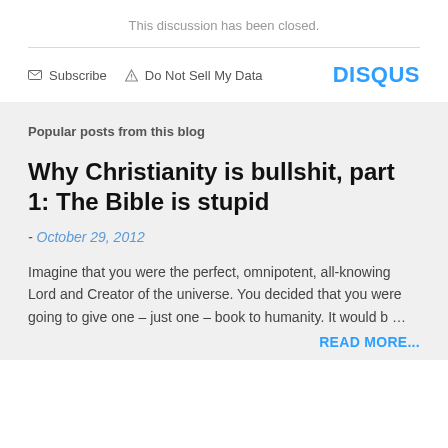This discussion has been closed.
Subscribe   Do Not Sell My Data   DISQUS
Popular posts from this blog
Why Christianity is bullshit, part 1: The Bible is stupid
- October 29, 2012
Imagine that you were the perfect, omnipotent, all-knowing Lord and Creator of the universe. You decided that you were going to give one – just one – book to humanity. It would b…
READ MORE...